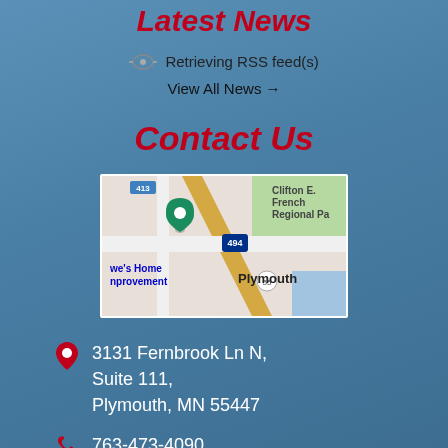Latest News
Retrieving RSS feed(s)
View All News →
Contact Us
[Figure (map): Google Maps screenshot showing Plymouth, MN area with Clifton E. French Regional Park, Lowe's Home Improvement, and highway 494 visible.]
3131 Fernbrook Ln N, Suite 111, Plymouth, MN 55447
763-473-4090
763-473-2804